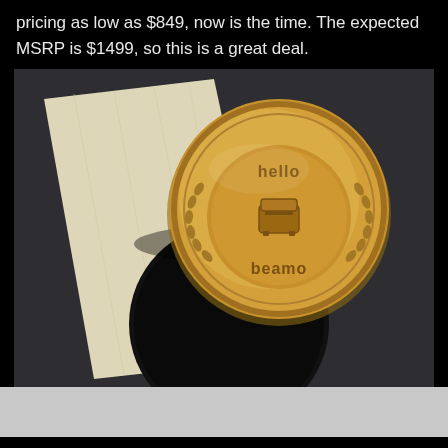pricing as low as $849, now is the time. The expected MSRP is $1499, so this is a great deal.
[Figure (photo): A wooden coin/medallion engraved with 'hello beamo' text and a laser cutter icon in the center, surrounded by a laurel wreath design. The coin is placed on a light wooden board and a dark circular cutout piece. Background is dark gray/charcoal.]